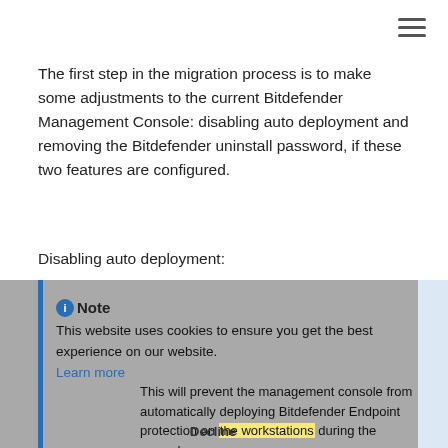The first step in the migration process is to make some adjustments to the current Bitdefender Management Console: disabling auto deployment and removing the Bitdefender uninstall password, if these two features are configured.
Disabling auto deployment:
This website uses cookies to ensure you get the best experience on our website. Learn more
Note
This will prevent the management console from automatically deploying Bitdefender Endpoint protection on the workstations during the upgrade process.
Decline